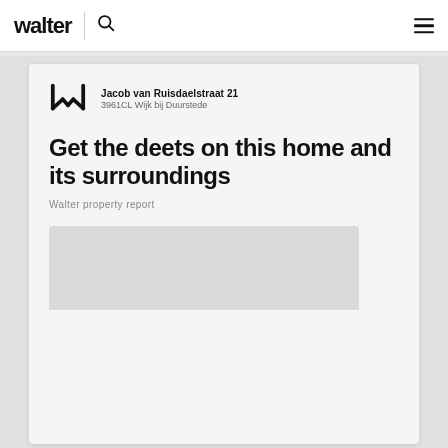walter
Jacob van Ruisdaelstraat 21
3961CL Wijk bij Duurstede
Get the deets on this home and its surroundings
Walter property report
[Figure (photo): Property image placeholder at bottom of card]